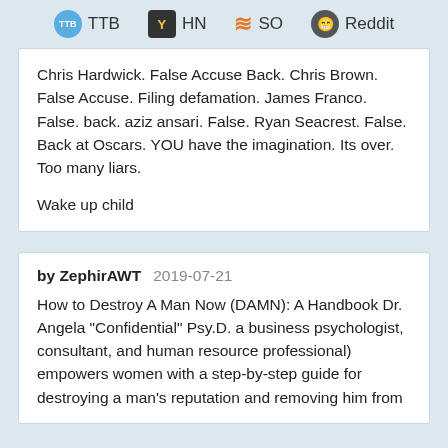TTB  HN  SO  Reddit
Chris Hardwick. False Accuse Back. Chris Brown. False Accuse. Filing defamation. James Franco. False. back. aziz ansari. False. Ryan Seacrest. False. Back at Oscars. YOU have the imagination. Its over. Too many liars.

Wake up child
by ZephirAWT  2019-07-21
How to Destroy A Man Now (DAMN): A Handbook Dr. Angela "Confidential" Psy.D. a business psychologist, consultant, and human resource professional) empowers women with a step-by-step guide for destroying a man's reputation and removing him from